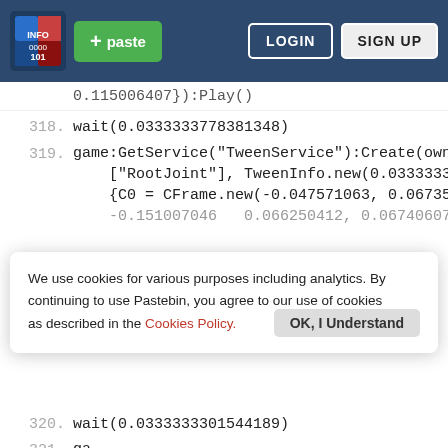Pastebin header with logo, + paste button, LOGIN and SIGN UP buttons
0.115006407}):Play()
318.  wait(0.0333333778381348)
319.  game:GetService("TweenService"):Create(owner.Charact
    ["RootJoint"], TweenInfo.new(0.033333301544189),
    {C0 = CFrame.new(-0.047571063, 0.0673596263,
    -0.151007046 — 0.066250412, 0.067406077...
We use cookies for various purposes including analytics. By continuing to use Pastebin, you agree to our use of cookies as described in the Cookies Policy.
Not a member of Pastebin yet?
Sign Up, it unlocks many cool features!
320.  wait(0.0333333301544189)
321.  game:GetService("TweenService"):Create ...
    ["..."],
    {C...
-0.106174946,  -0.86867857,  0.0694766566,
-0.490479946,  -0.495183259,  -0.149420008,
0.855843008,  -0.013826401,  0.986329973,
0.164201617}):Play()